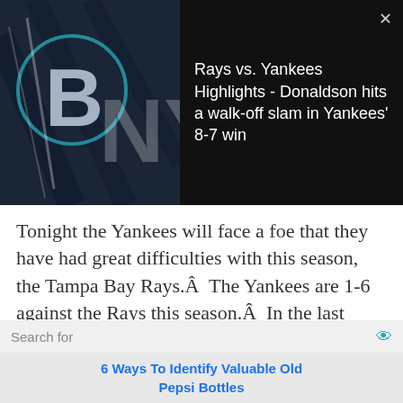[Figure (screenshot): Video thumbnail showing Rays vs. Yankees baseball logos on dark background with close button]
Rays vs. Yankees Highlights - Donaldson hits a walk-off slam in Yankees' 8-7 win
Tonight the Yankees will face a foe that they have had great difficulties with this season, the Tampa Bay Rays.Â  The Yankees are 1-6 against the Rays this season.Â  In the last three-game series earlier, the Rays swept the Yankees at the Stadium in the Bronx.
Search for
6 Ways To Identify Valuable Old Pepsi Bottles